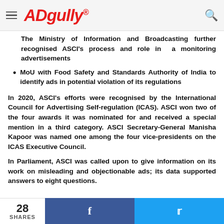ADgully®
The Ministry of Information and Broadcasting further recognised ASCI's process and role in a monitoring advertisements
MoU with Food Safety and Standards Authority of India to identify ads in potential violation of its regulations
In 2020, ASCI's efforts were recognised by the International Council for Advertising Self-regulation (ICAS). ASCI won two of the four awards it was nominated for and received a special mention in a third category. ASCI Secretary-General Manisha Kapoor was named one among the four vice-presidents on the ICAS Executive Council.
In Parliament, ASCI was called upon to give information on its work on misleading and objectionable ads; its data supported answers to eight questions.
28 SHARES